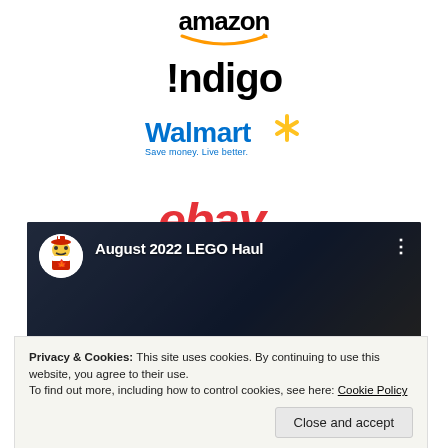[Figure (logo): Amazon logo with orange swoosh]
[Figure (logo): Indigo logo in black bold text]
[Figure (logo): Walmart logo with blue text and yellow spark, tagline: Save money. Live better.]
[Figure (logo): eBay logo in red italic text]
[Figure (screenshot): YouTube video thumbnail showing 'August 2022 LEGO Haul' with avatar icon and LEGO box background]
Privacy & Cookies: This site uses cookies. By continuing to use this website, you agree to their use.
To find out more, including how to control cookies, see here: Cookie Policy
Close and accept
Check out Tom's latest haul on YouTube!